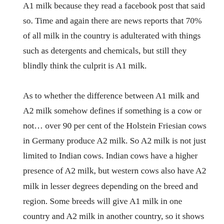A1 milk because they read a facebook post that said so. Time and again there are news reports that 70% of all milk in the country is adulterated with things such as detergents and chemicals, but still they blindly think the culprit is A1 milk.
As to whether the difference between A1 milk and A2 milk somehow defines if something is a cow or not… over 90 per cent of the Holstein Friesian cows in Germany produce A2 milk. So A2 milk is not just limited to Indian cows. Indian cows have a higher presence of A2 milk, but western cows also have A2 milk in lesser degrees depending on the breed and region. Some breeds will give A1 milk in one country and A2 milk in another country, so it shows it is related to other regional factors.